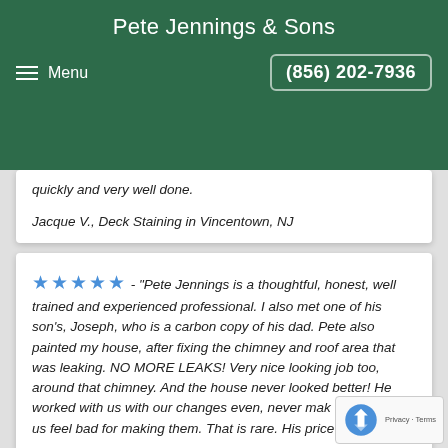Pete Jennings & Sons
Menu  (856) 202-7936
quickly and very well done.
Jacque V., Deck Staining in Vincentown, NJ
★★★★★ - "Pete Jennings is a thoughtful, honest, well trained and experienced professional. I also met one of his son's, Joseph, who is a carbon copy of his dad. Pete also painted my house, after fixing the chimney and roof area that was leaking. NO MORE LEAKS! Very nice looking job too, around that chimney. And the house never looked better! He worked with us with our changes even, never making us feel bad for making them. That is rare. His prices